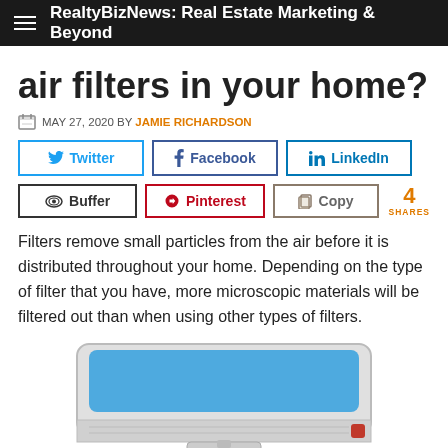RealtyBizNews: Real Estate Marketing & Beyond
air filters in your home?
MAY 27, 2020 BY JAMIE RICHARDSON
[Figure (infographic): Social share buttons: Twitter, Facebook, LinkedIn, Buffer, Pinterest, Copy. 4 SHARES shown.]
Filters remove small particles from the air before it is distributed throughout your home. Depending on the type of filter that you have, more microscopic materials will be filtered out than when using other types of filters.
[Figure (photo): Illustration of a white wall-mounted air conditioning unit with a blue panel and horizontal vents at the bottom.]